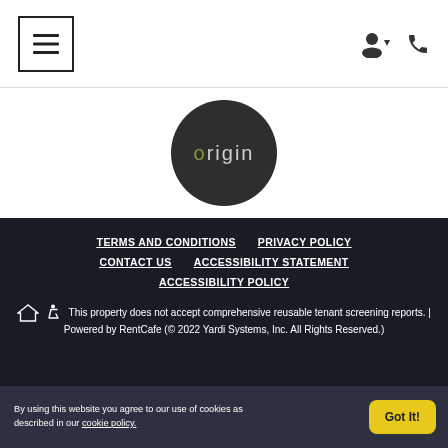[Figure (logo): Hamburger menu icon in a bordered square on the left; user account and phone icons on the right]
[Figure (logo): Origin logo: dark circular badge with 'origin' text, where the 'o' is in olive/green color]
TERMS AND CONDITIONS   PRIVACY POLICY
CONTACT US   ACCESSIBILITY STATEMENT
ACCESSIBILITY POLICY
This property does not accept comprehensive reusable tenant screening reports. | Powered by RentCafe (© 2022 Yardi Systems, Inc. All Rights Reserved.)
By using this website you agree to our use of cookies as described in our cookie policy.